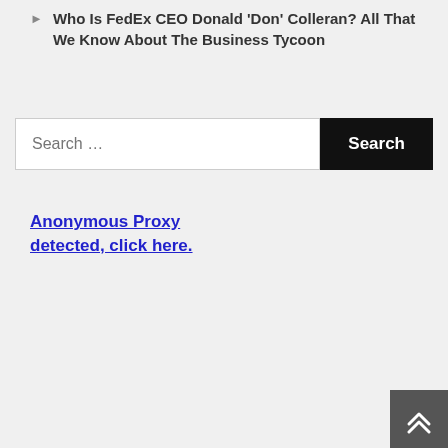Who Is FedEx CEO Donald 'Don' Colleran? All That We Know About The Business Tycoon
Search …
Anonymous Proxy detected, click here.
[Figure (other): Scroll to top button with double chevron up arrow icon on dark grey background, positioned in bottom-right corner]